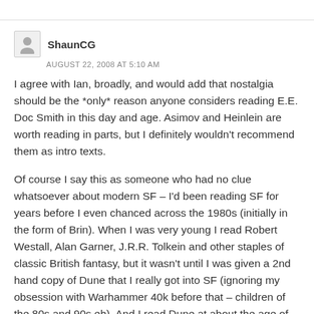ShaunCG
AUGUST 22, 2008 AT 5:10 AM
I agree with Ian, broadly, and would add that nostalgia should be the *only* reason anyone considers reading E.E. Doc Smith in this day and age. Asimov and Heinlein are worth reading in parts, but I definitely wouldn't recommend them as intro texts.
Of course I say this as someone who had no clue whatsoever about modern SF – I'd been reading SF for years before I even chanced across the 1980s (initially in the form of Brin). When I was very young I read Robert Westall, Alan Garner, J.R.R. Tolkein and other staples of classic British fantasy, but it wasn't until I was given a 2nd hand copy of Dune that I really got into SF (ignoring my obsession with Warhammer 40k before that – children of the 80s and 90s eh). And I read Dune at about the age of